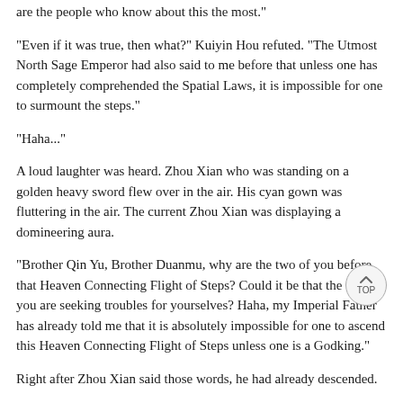are the people who know about this the most."
"Even if it was true, then what?" Kuiyin Hou refuted. "The Utmost North Sage Emperor had also said to me before that unless one has completely comprehended the Spatial Laws, it is impossible for one to surmount the steps."
"Haha..."
A loud laughter was heard. Zhou Xian who was standing on a golden heavy sword flew over in the air. His cyan gown was fluttering in the air. The current Zhou Xian was displaying a domineering aura.
"Brother Qin Yu, Brother Duanmu, why are the two of you before that Heaven Connecting Flight of Steps? Could it be that the two of you are seeking troubles for yourselves? Haha, my Imperial Father has already told me that it is absolutely impossible for one to ascend this Heaven Connecting Flight of Steps unless one is a Godking."
Right after Zhou Xian said those words, he had already descended.